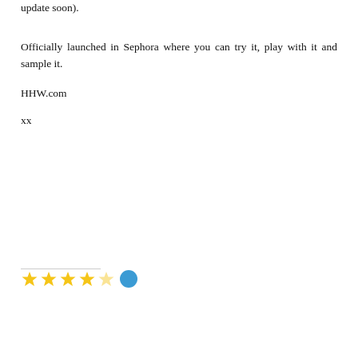update soon).
Officially launched in Sephora where you can try it, play with it and sample it.
HHW.com
xx
Privacy & Cookies: This site uses cookies. By continuing to use this website, you agree to their use.
To find out more, including how to control cookies, see here: Cookie Policy
Close and accept